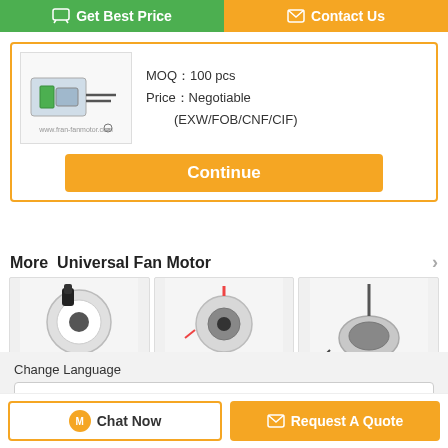Get Best Price
Contact Us
MOQ：100 pcs
Price：Negotiable (EXW/FOB/CNF/CIF)
Continue
More  Universal Fan Motor
[Figure (photo): DC Electric Resin Packing Motor product photo]
DC Electric Resin Packing Motor
[Figure (photo): Refrigerator DC Fan Motor product photo]
Refrigerator DC Fan Motor
[Figure (photo): 1.8uF 450V Beverage Air Fan motor product photo]
1.8uF 450V Beverage Air Fa...
Change Language
english
Chat Now
Request A Quote